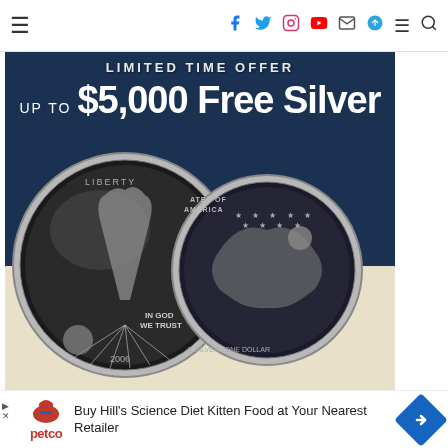Navigation header with hamburger menu and social icons (Facebook, Twitter, Instagram, YouTube, Mail, Telegram, Menu, Search)
[Figure (advertisement): Silver investment advertisement. Dark navy blue background. Text reads 'LIMITED TIME OFFER' and 'UP TO $5,000 Free Silver'. Features two American Eagle silver coins (front and back). Bottom has a green button 'CLAIM YOUR FREE SILVER'.]
[Figure (advertisement): Petco advertisement banner. Petco logo with red dog illustration and red 'petco' text. Text reads 'Buy Hill's Science Diet Kitten Food at Your Nearest Retailer'. Blue diamond arrow icon on the right.]